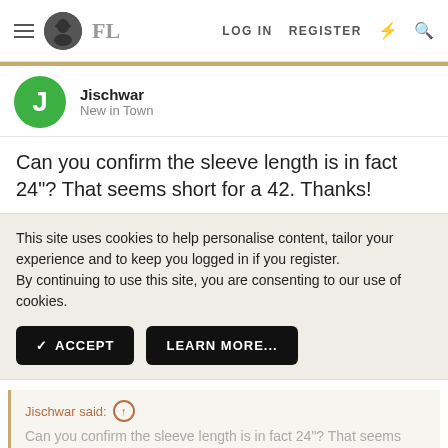FL — LOG IN  REGISTER
Jischwar
New in Town
Can you confirm the sleeve length is in fact 24"? That seems short for a 42. Thanks!
This site uses cookies to help personalise content, tailor your experience and to keep you logged in if you register.
By continuing to use this site, you are consenting to our use of cookies.
✓ ACCEPT   LEARN MORE...
Jischwar said: ↑
Can you confirm the sleeve length is in fact 24"? That seems short for a 42. Thanks!